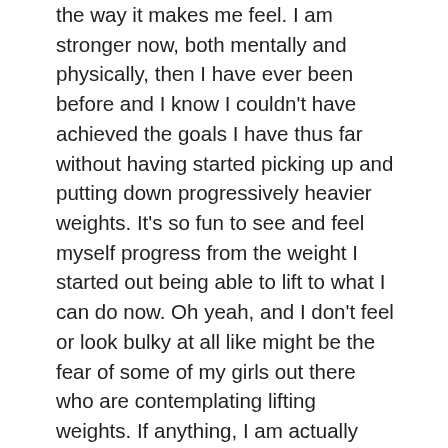the way it makes me feel. I am stronger now, both mentally and physically, then I have ever been before and I know I couldn't have achieved the goals I have thus far without having started picking up and putting down progressively heavier weights.  It's so fun to see and feel myself progress from the weight I started out being able to lift to what I can do now.  Oh yeah, and I don't feel or look bulky at all like might be the fear of some of my girls out there who are contemplating lifting weights.  If anything, I am actually leaner and all this has happened at 40 years old!  And while LIIFT4 showed me the awesomeness of lifting heavy weighs, Barre Blend showed me that you can get pretty amazing results through the use of much lighter weights as well. I only use 3lb weights for the entire program and oh wow have I gotten some crazy definition! For more on either one of those programs, check out my Workouts page. Again you guys, at 40 years old I have never been more